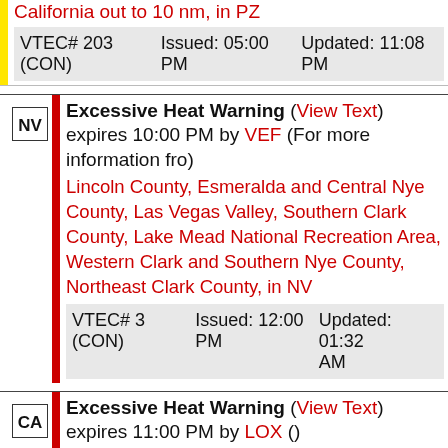California out to 10 nm, in PZ
| VTEC# 203 (CON) | Issued: 05:00 PM | Updated: 11:08 PM |
| --- | --- | --- |
NV Excessive Heat Warning (View Text) expires 10:00 PM by VEF (For more information fro)
Lincoln County, Esmeralda and Central Nye County, Las Vegas Valley, Southern Clark County, Lake Mead National Recreation Area, Western Clark and Southern Nye County, Northeast Clark County, in NV
| VTEC# 3 (CON) | Issued: 12:00 PM | Updated: 01:32 AM |
| --- | --- | --- |
CA Excessive Heat Warning (View Text) expires 11:00 PM by LOX ()
Los Angeles County Mountains excluding the Santa Monica Range, Cuyama Valley, Los Angeles County San Fernando Valley, Ventura County